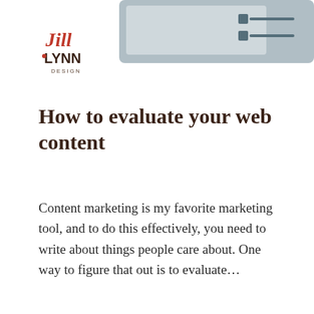[Figure (logo): Jill Lynn Design logo in red and dark brown script lettering]
[Figure (illustration): Partial illustration of a tablet or device with a checklist graphic on a light blue-grey background]
How to evaluate your web content
Content marketing is my favorite marketing tool, and to do this effectively, you need to write about things people care about. One way to figure that out is to evaluate...